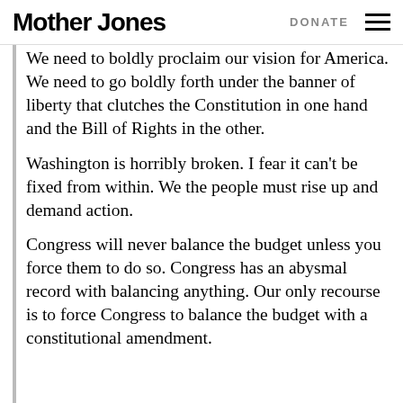Mother Jones | DONATE
We need to boldly proclaim our vision for America. We need to go boldly forth under the banner of liberty that clutches the Constitution in one hand and the Bill of Rights in the other.
Washington is horribly broken. I fear it can't be fixed from within. We the people must rise up and demand action.
Congress will never balance the budget unless you force them to do so. Congress has an abysmal record with balancing anything. Our only recourse is to force Congress to balance the budget with a constitutional amendment.